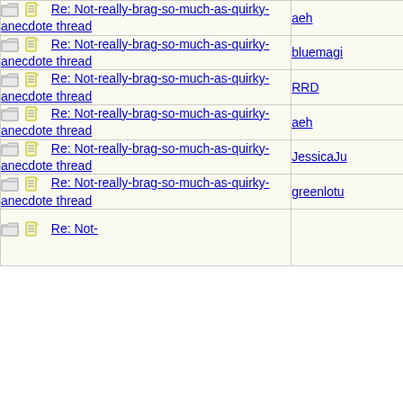| Subject | Author |
| --- | --- |
| Re: Not-really-brag-so-much-as-quirky-anecdote thread | aeh |
| Re: Not-really-brag-so-much-as-quirky-anecdote thread | bluemagi |
| Re: Not-really-brag-so-much-as-quirky-anecdote thread | RRD |
| Re: Not-really-brag-so-much-as-quirky-anecdote thread | aeh |
| Re: Not-really-brag-so-much-as-quirky-anecdote thread | JessicaJu |
| Re: Not-really-brag-so-much-as-quirky-anecdote thread | greenlotu |
| Re: Not-really-brag-so-much-as-quirky-anecdote thread |  |